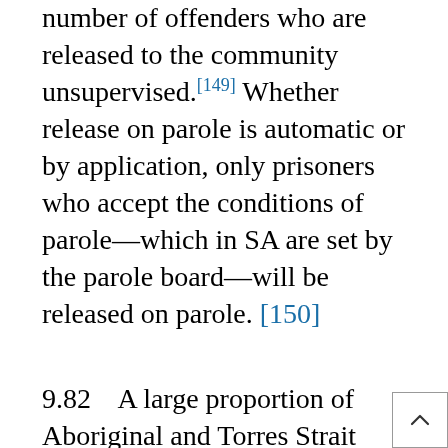number of offenders who are released to the community unsupervised.[149] Whether release on parole is automatic or by application, only prisoners who accept the conditions of parole—which in SA are set by the parole board—will be released on parole. [150]
9.82    A large proportion of Aboriginal and Torres Strait Islander prisoners receive a prison sentence that would enable them to receive court-ordered parole if available [151]